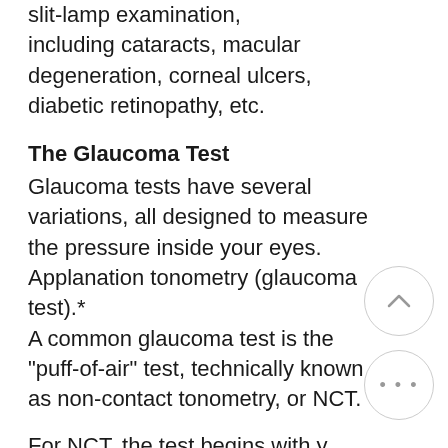slit-lamp examination, including cataracts, macular degeneration, corneal ulcers, diabetic retinopathy, etc.
The Glaucoma Test
Glaucoma tests have several variations, all designed to measure the pressure inside your eyes. Applanation tonometry (glaucoma test).* A common glaucoma test is the "puff-of-air" test, technically known as non-contact tonometry, or NCT.
For NCT, the test begins with you putting your chin on the machine's chin rest. While you look at a light inside the machine, the doctor or trained assistant will puff a small burst of air at your open eye. It is